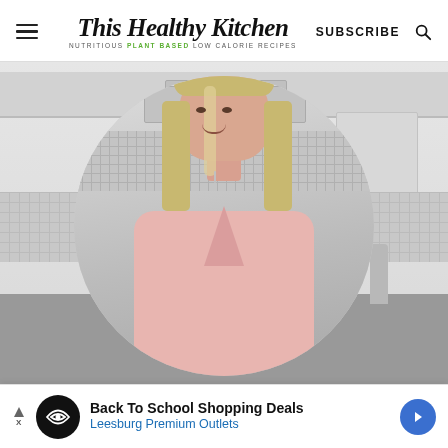This Healthy Kitchen — NUTRITIOUS PLANT BASED LOW CALORIE RECIPES — SUBSCRIBE
[Figure (photo): A smiling blonde woman in a pink top seated in a modern kitchen, shown inside a circular crop on a light gray background. Above-range hood and tile backsplash visible.]
Back To School Shopping Deals
Leesburg Premium Outlets